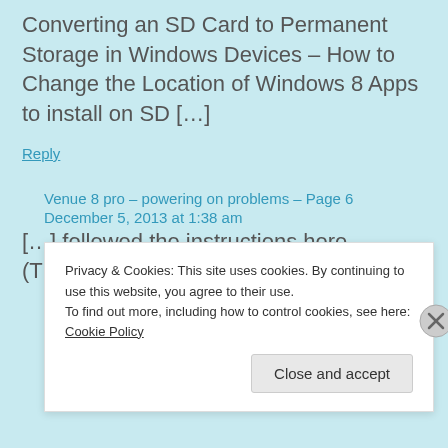Converting an SD Card to Permanent Storage in Windows Devices – How to Change the Location of Windows 8 Apps to install on SD […]
Reply
Venue 8 pro – powering on problems – Page 6
December 5, 2013 at 1:38 am
[…] followed the instructions here (Things to do
Privacy & Cookies: This site uses cookies. By continuing to use this website, you agree to their use.
To find out more, including how to control cookies, see here: Cookie Policy
Close and accept